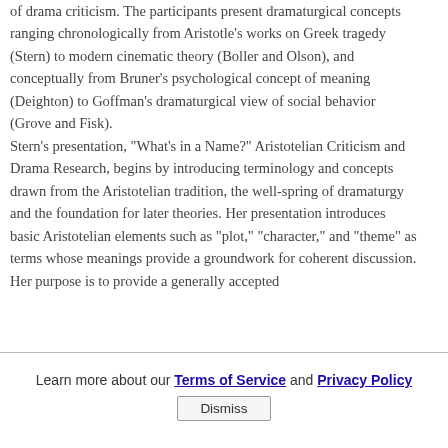of drama criticism. The participants present dramaturgical concepts ranging chronologically from Aristotle's works on Greek tragedy (Stern) to modern cinematic theory (Boller and Olson), and conceptually from Bruner's psychological concept of meaning (Deighton) to Goffman's dramaturgical view of social behavior (Grove and Fisk). Stern's presentation, "What's in a Name?" Aristotelian Criticism and Drama Research, begins by introducing terminology and concepts drawn from the Aristotelian tradition, the well-spring of dramaturgy and the foundation for later theories. Her presentation introduces basic Aristotelian elements such as "plot," "character," and "theme" as terms whose meanings provide a groundwork for coherent discussion. Her purpose is to provide a generally accepted
Learn more about our Terms of Service and Privacy Policy
Dismiss